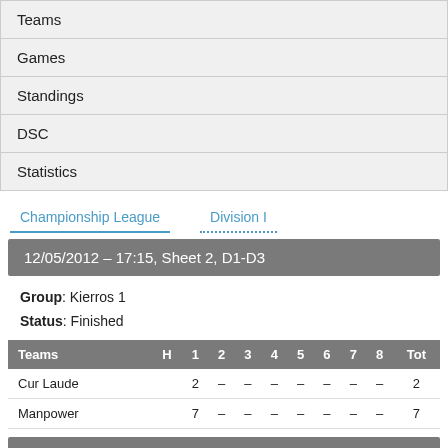| Teams |
| Games |
| Standings |
| DSC |
| Statistics |
Championship League    Division I
12/05/2012 - 17:15, Sheet 2, D1-D3
Group: Kierros 1
Status: Finished
| Teams | H | 1 | 2 | 3 | 4 | 5 | 6 | 7 | 8 | Tot |
| --- | --- | --- | --- | --- | --- | --- | --- | --- | --- | --- |
| Cur Laude |  | 2 | - | - | - | - | - | - | - | 2 |
| Manpower |  | 7 | - | - | - | - | - | - | - | 7 |
12/05/2012 - 17:15, Sheet 2, D4-D6